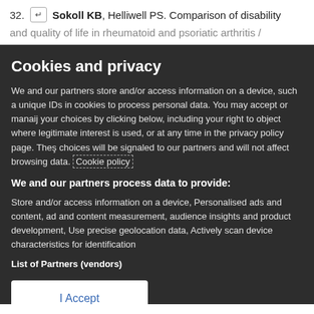32. ↵ Sokoll KB, Helliwell PS. Comparison of disability
and quality of life in rheumatoid and psoriatic arthritis /
Cookies and privacy
We and our partners store and/or access information on a device, such as unique IDs in cookies to process personal data. You may accept or manage your choices by clicking below, including your right to object where legitimate interest is used, or at any time in the privacy policy page. These choices will be signaled to our partners and will not affect browsing data. Cookie policy
We and our partners process data to provide:
Store and/or access information on a device, Personalised ads and content, ad and content measurement, audience insights and product development, Use precise geolocation data, Actively scan device characteristics for identification
List of Partners (vendors)
I Accept